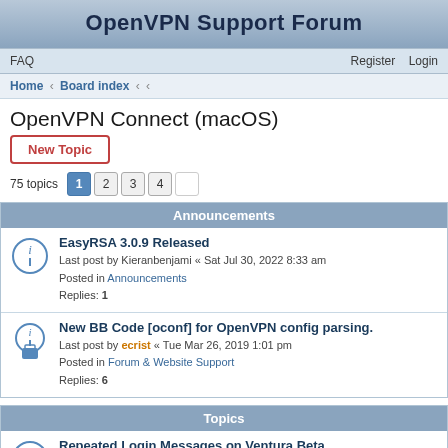OpenVPN Support Forum
FAQ  Register  Login
Home · Board index · ‹ ·
OpenVPN Connect (macOS)
New Topic
75 topics  1  2  3  4  [next]
Announcements
EasyRSA 3.0.9 Released
Last post by Kieranbenjami « Sat Jul 30, 2022 8:33 am
Posted in Announcements
Replies: 1
New BB Code [oconf] for OpenVPN config parsing.
Last post by ecrist « Tue Mar 26, 2019 1:01 pm
Posted in Forum & Website Support
Replies: 6
Topics
Repeated Login Messages on Ventura Beta
Last post by openvpn_inc « Wed Aug 24, 2022 8:21 am
Replies: 9
Getting connected/disconnected status